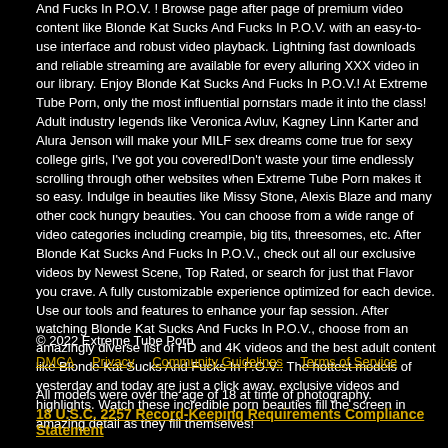And Fucks In P.O.V. ! Browse page after page of premium video content like Blonde Kat Sucks And Fucks In P.O.V. with an easy-to-use interface and robust video playback. Lightning fast downloads and reliable streaming are available for every alluring XXX video in our library. Enjoy Blonde Kat Sucks And Fucks In P.O.V.! At Extreme Tube Porn, only the most influential pornstars made it into the class! Adult industry legends like Veronica Avluv, Kagney Linn Karter and Alura Jenson will make your MILF sex dreams come true for sexy college girls, I've got you covered!Don't waste your time endlessly scrolling through other websites when Extreme Tube Porn makes it so easy. Indulge in beauties like Missy Stone, Alexis Blaze and many other cock hungry beauties. You can choose from a wide range of video categories including creampie, big tits, threesomes, etc. After Blonde Kat Sucks And Fucks In P.O.V., check out all our exclusive videos by Newest Scene, Top Rated, or search for just that Flavor you crave. A fully customizable experience optimized for each device. Use our tools and features to enhance your fap session. After watching Blonde Kat Sucks And Fucks In P.O.V., choose from an amazingly diverse list of HD and 4K videos and the best adult content like Blonde Kat Sucks And Fucks In P.O.V.. The hottest models of yesterday and today are just a click away. exclusive videos and highlights. Watch these incredible porn beauties fill the screen in amazing detail as they fill themselves!
© 2022 Extreme Tube Porn
DMCA  Privacy  Community Guidelines  Terms of Service
All models were over the age of 18 at time of photography.
18 U.S.C. 2257 Record-Keeping Requirements Compliance Statement